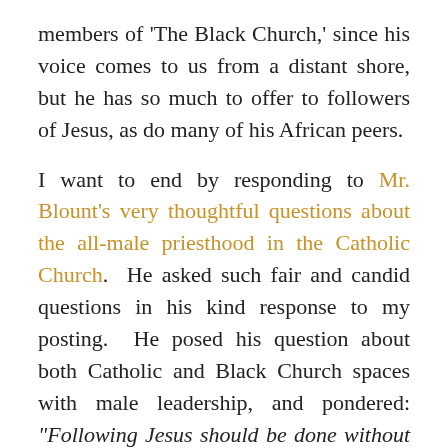members of 'The Black Church,' since his voice comes to us from a distant shore, but he has so much to offer to followers of Jesus, as do many of his African peers.
I want to end by responding to Mr. Blount's very thoughtful questions about the all-male priesthood in the Catholic Church. He asked such fair and candid questions in his kind response to my posting. He posed his question about both Catholic and Black Church spaces with male leadership, and pondered: “Following Jesus should be done without restriction or regulation unless Jesus Himself places limits on us. I am just